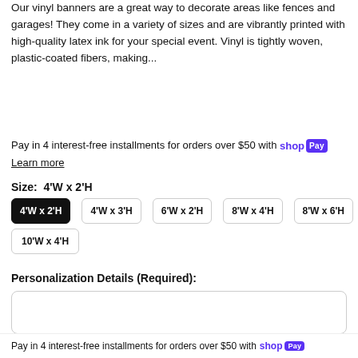Our vinyl banners are a great way to decorate areas like fences and garages! They come in a variety of sizes and are vibrantly printed with high-quality latex ink for your special event. Vinyl is tightly woven, plastic-coated fibers, making...
Pay in 4 interest-free installments for orders over $50 with shop Pay
Learn more
Size:  4'W x 2'H
4'W x 2'H  4'W x 3'H  6'W x 2'H  8'W x 4'H  8'W x 6'H  10'W x 4'H
Personalization Details (Required):
Need-by Date (Required):
Pay in 4 interest-free installments for orders over $50 with shop Pay